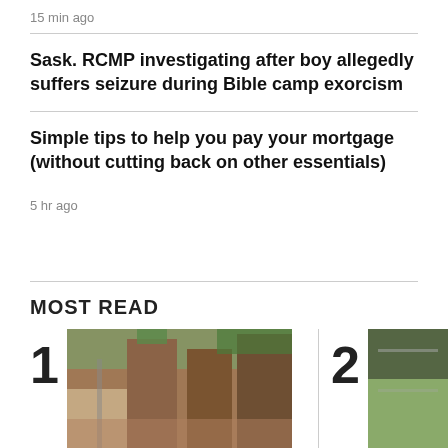15 min ago
Sask. RCMP investigating after boy allegedly suffers seizure during Bible camp exorcism
Simple tips to help you pay your mortgage (without cutting back on other essentials)
5 hr ago
MOST READ
[Figure (photo): Photo 1 in MOST READ section showing a building with trees]
[Figure (photo): Photo 2 in MOST READ section, partially visible]